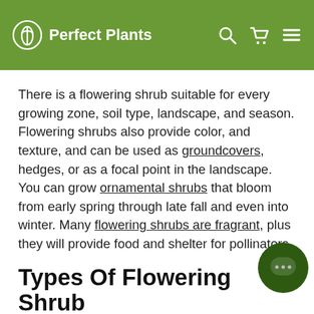Perfect Plants
There is a flowering shrub suitable for every growing zone, soil type, landscape, and season. Flowering shrubs also provide color, and texture, and can be used as groundcovers, hedges, or as a focal point in the landscape. You can grow ornamental shrubs that bloom from early spring through late fall and even into winter. Many flowering shrubs are fragrant, plus they will provide food and shelter for pollinators.
Types Of Flowering Shrubs
Dwarf flowering shrubs produce the same blooms and